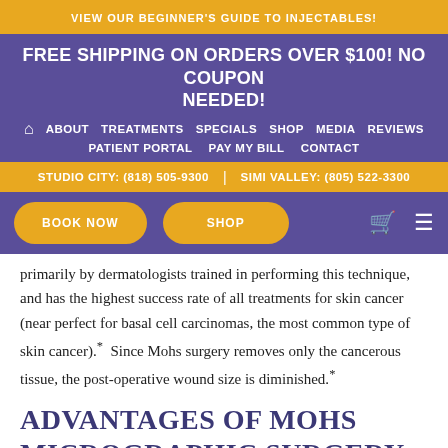VIEW OUR BEGINNER'S GUIDE TO INJECTABLES!
FREE SHIPPING ON ORDERS OVER $100! NO COUPON NEEDED!
ABOUT TREATMENTS SPECIALS SHOP MEDIA REVIEWS PATIENT PORTAL PAY MY BILL CONTACT
STUDIO CITY: (818) 505-9300 | SIMI VALLEY: (805) 522-3300
BOOK NOW SHOP
primarily by dermatologists trained in performing this technique, and has the highest success rate of all treatments for skin cancer (near perfect for basal cell carcinomas, the most common type of skin cancer).* Since Mohs surgery removes only the cancerous tissue, the post-operative wound size is diminished.*
ADVANTAGES OF MOHS MICROGRAPHIC SURGERY